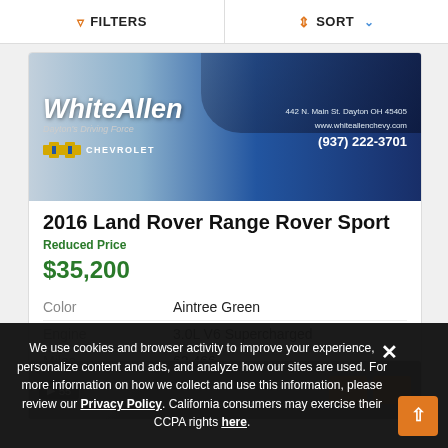FILTERS  SORT
[Figure (photo): White Allen Chevrolet dealer banner ad with logo, address 442 N. Main St. Dayton OH 45405, www.whiteallenchevy.com, (937) 222-3701]
2016 Land Rover Range Rover Sport
Reduced Price
$35,200
|  |  |
| --- | --- |
| Color | Aintree Green |
| Engine | 3.0L V6 Supercharged |
| Miles | 62,466 |
[Figure (photo): Partial view of second car listing card with photo count badge showing 55 photos]
We use cookies and browser activity to improve your experience, personalize content and ads, and analyze how our sites are used. For more information on how we collect and use this information, please review our Privacy Policy. California consumers may exercise their CCPA rights here.